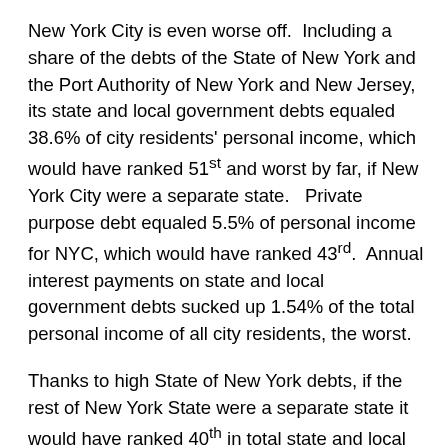New York City is even worse off.  Including a share of the debts of the State of New York and the Port Authority of New York and New Jersey, its state and local government debts equaled 38.6% of city residents' personal income, which would have ranked 51st and worst by far, if New York City were a separate state.   Private purpose debt equaled 5.5% of personal income for NYC, which would have ranked 43rd.  Annual interest payments on state and local government debts sucked up 1.54% of the total personal income of all city residents, the worst.
Thanks to high State of New York debts, if the rest of New York State were a separate state it would have ranked 40th in total state and local government debt as a percent of personal income, 11th from the worst, at 20.2% of personal income.  That is about the same as the state and